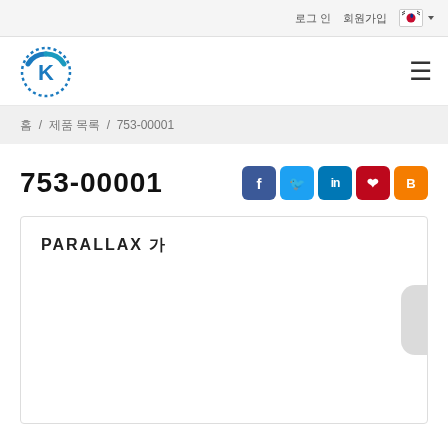로그 인  회원가입  🇰🇷
[Figure (logo): Blue circular K logo with dotted border]
홈 / 제품 목록 / 753-00001
753-00001
[Figure (other): Social media share icons: Facebook, Twitter, LinkedIn, Pinterest, Blogger]
[Figure (other): Product image box with PARALLAX 가 label inside a bordered container]